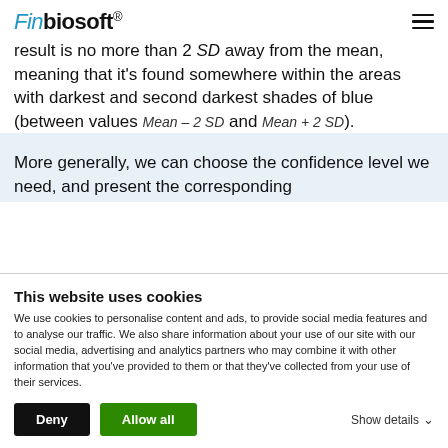Finbiosoft®
result is no more than 2 SD away from the mean, meaning that it's found somewhere within the areas with darkest and second darkest shades of blue (between values Mean – 2 SD and Mean + 2 SD).
More generally, we can choose the confidence level we need, and present the corresponding
This website uses cookies
We use cookies to personalise content and ads, to provide social media features and to analyse our traffic. We also share information about your use of our site with our social media, advertising and analytics partners who may combine it with other information that you've provided to them or that they've collected from your use of their services.
Deny | Allow all | Show details